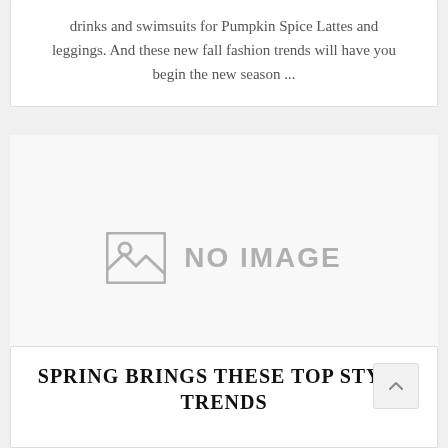drinks and swimsuits for Pumpkin Spice Lattes and leggings. And these new fall fashion trends will have you begin the new season ...
[Figure (other): No image placeholder with a gray image icon and 'NO IMAGE' text]
SPRING BRINGS THESE TOP STYLE TRENDS